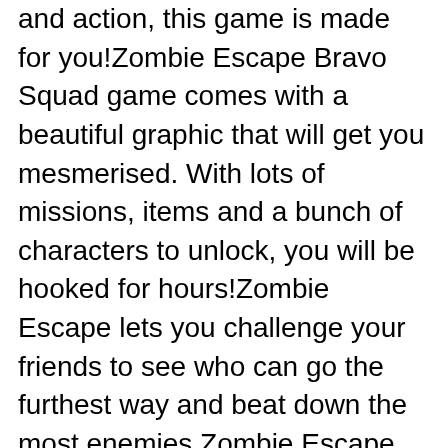and action, this game is made for you!Zombie Escape Bravo Squad game comes with a beautiful graphic that will get you mesmerised. With lots of missions, items and a bunch of characters to unlock, you will be hooked for hours!Zombie Escape lets you challenge your friends to see who can go the furthest way and beat down the most enemies.Zombie Escape Bravo Squad Features:– Facebook Login– Leader Board– More games section– Two in game currencies: coins and keysPurchase able items:– 7 Unique characters– 7 different Guns– 6 boats– 20 mission– 11 itemsDownload it now Zombie Escape Bravo Squad !Learn [email protected] AppTouchGames.comLikes us on our social page. Find more cool and quality games! Facebook: https://www.facebook.com/MobileAppGamer/Twitter: https://twitter.com/MobileAppGamerWE WOULD LOVE TO GET YOUR FEEDBACK!Your Review/Ratings are very important to us. This will help us to bring you free updates with more great features and exciting new games.Enjoy the game! :)THE DOLPHINS and Whales [W] aged a fierce war with each other. When the battle was at its heigh